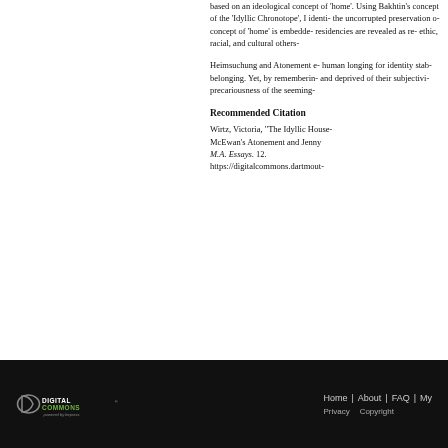based on an ideological concept of 'home'. Using Bakhtin's concept of the 'Idyllic Chronotope', I identify how both novels emphasize the uncorrupted preservation of a certain way of life, how the concept of 'home' is embedded in landscape and how idyllic residencies are revealed as realms of exclusion, targeted at eth-nic, racial, and cultural others.
Heimsuchung and Atonement examine and challenge the human longing for identity stability, rootedness, and a sense of belonging. Yet, by remembering those denied a home of their own and deprived of their subjectivity, both novels reveal the precariousness of the seemingly stable idyllic home.
Recommended Citation
Wirtz, Victoria, "The Idyllic House as a Site of Exclusion: Ian McEwan's Atonement and Jenny Erpenbeck's Heimsuchung". M.A. Essays. 12.
https://digitalcommons.dartmouth...
[Figure (logo): Digital Commons powered by bepress logo (white on black background)]
Home | About | FAQ | My Account
Privacy  Copyright